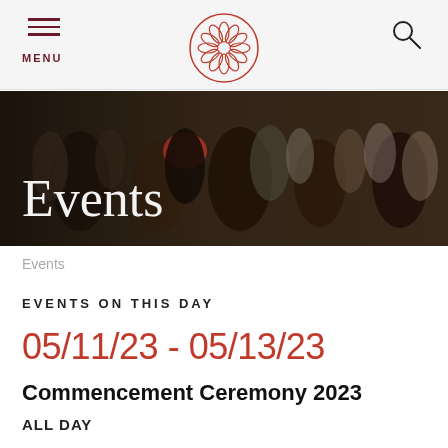MENU [hamburger icon] [university logo] [search icon]
[Figure (photo): Crowd of students at an outdoor event; person wearing a red cap in center foreground; dark overlay on left side.]
Events
Events
EVENTS ON THIS DAY
05/11/23 - 05/13/23
Commencement Ceremony 2023
ALL DAY